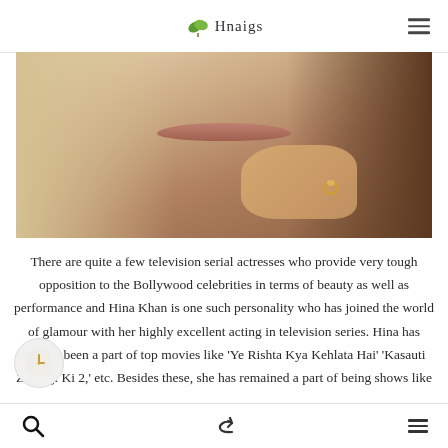Hnaigs (logo)
[Figure (photo): Close-up photo of a woman's face and hand with a ring, partially cropped]
There are quite a few television serial actresses who provide very tough opposition to the Bollywood celebrities in terms of beauty as well as performance and Hina Khan is one such personality who has joined the world of glamour with her highly excellent acting in television series. Hina has always been a part of top movies like ‘Ye Rishta Kya Kehlata Hai’ ‘Kasauti Zindagi Ki 2,’ etc. Besides these, she has remained a part of being shows like
Search | Share | Menu